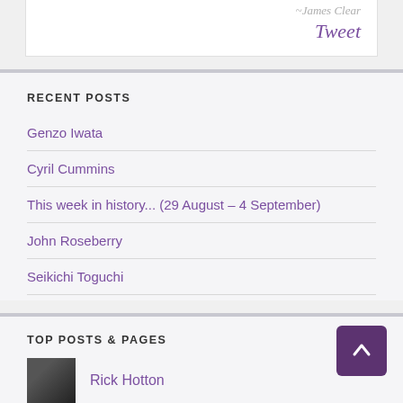~James Clear
Tweet
RECENT POSTS
Genzo Iwata
Cyril Cummins
This week in history... (29 August – 4 September)
John Roseberry
Seikichi Toguchi
TOP POSTS & PAGES
Rick Hotton